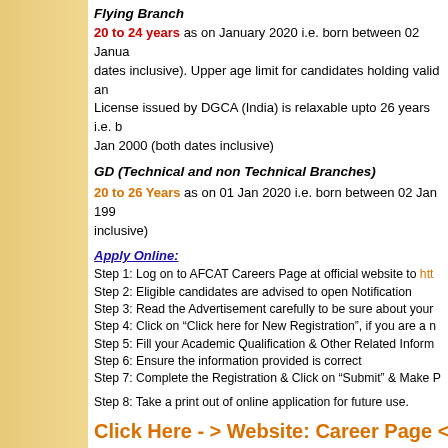Flying Branch
20 to 24 years as on January 2020 i.e. born between 02 Janua... dates inclusive). Upper age limit for candidates holding valid an... License issued by DGCA (India) is relaxable upto 26 years i.e. b... Jan 2000 (both dates inclusive)
GD (Technical and non Technical Branches)
20 to 26 Years as on 01 Jan 2020 i.e. born between 02 Jan 199... inclusive)
Apply Online:
Step 1: Log on to AFCAT Careers Page at official website to htt...
Step 2: Eligible candidates are advised to open Notification
Step 3: Read the Advertisement carefully to be sure about your...
Step 4: Click on “Click here for New Registration”, if you are a n...
Step 5: Fill your Academic Qualification & Other Related Inform...
Step 6: Ensure the information provided is correct
Step 7: Complete the Registration & Click on “Submit” & Make P...
Step 8: Take a print out of online application for future use.
Click Here - > Website: Career Page < - Clic...